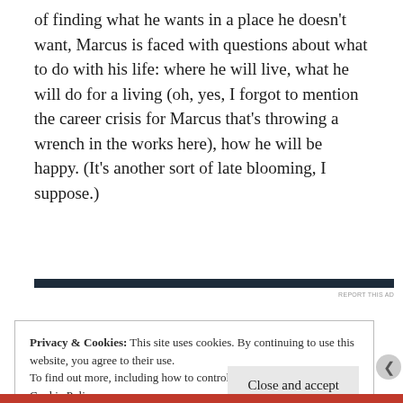of finding what he wants in a place he doesn't want, Marcus is faced with questions about what to do with his life: where he will live, what he will do for a living (oh, yes, I forgot to mention the career crisis for Marcus that's throwing a wrench in the works here), how he will be happy. (It's another sort of late blooming, I suppose.)
Privacy & Cookies: This site uses cookies. By continuing to use this website, you agree to their use.
To find out more, including how to control cookies, see here:
Cookie Policy
Close and accept